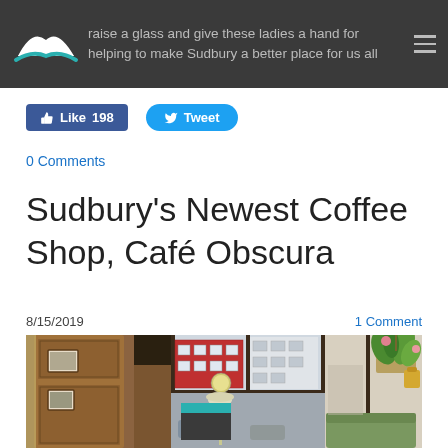raise a glass and give these ladies a hand for helping to make Sudbury a better place for us all
Like 198   Tweet
0 Comments
Sudbury's Newest Coffee Shop, Café Obscura
8/15/2019   1 Comment
[Figure (photo): Interior photo of Café Obscura showing wooden paneled walls with framed pictures, large floor-to-ceiling windows looking out to a red brick building across the street, a hanging plant in the foreground, and a lamp and seating area visible.]